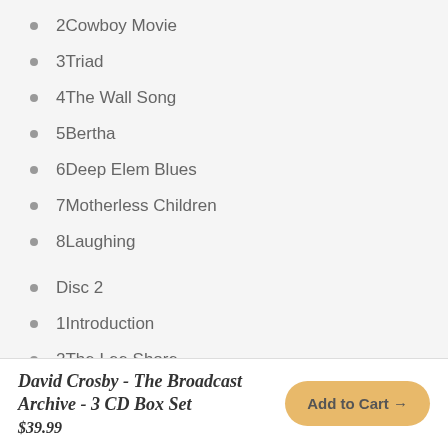2Cowboy Movie
3Triad
4The Wall Song
5Bertha
6Deep Elem Blues
7Motherless Children
8Laughing
Disc 2
1Introduction
2The Lee Shore
3Triad
4Almost Cut My Hair
5Drive My Car
6Compass
David Crosby - The Broadcast Archive - 3 CD Box Set
$39.99
Add to Cart →